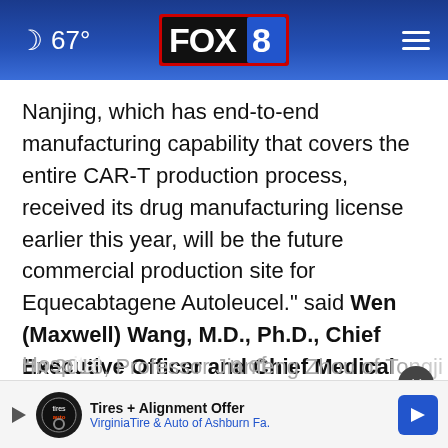🌙 67° FOX 8
Nanjing, which has end-to-end manufacturing capability that covers the entire CAR-T production process, received its drug manufacturing license earlier this year, will be the future commercial production site for Equecabtagene Autoleucel." said Wen (Maxwell) Wang, M.D., Ph.D., Chief Executive Officer and Chief Medical Officer of IASO Bio.
"In 2018, Professor Jianfeng Zhou of Tongji Hospital of
[Figure (screenshot): Advertisement banner: Tires + Alignment Offer, Virginia Tire & Auto of Ashburn Fa.]